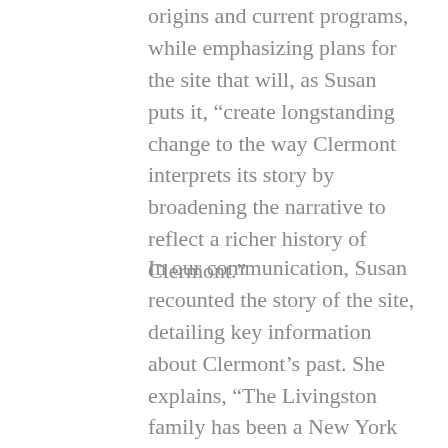origins and current programs, while emphasizing plans for the site that will, as Susan puts it, “create longstanding change to the way Clermont interprets its story by broadening the narrative to reflect a richer history of Clermont.”
In our communication, Susan recounted the story of the site, detailing key information about Clermont’s past. She explains, “The Livingston family has been a New York institution since the Lord of Livingston Manor immigrated here from Scotland in 1675. Robert Livingston, the eighth son of a minister with no inheritance to his name, charmed his way through colonial Albany’s social ranks, eventually marrying into the prestigious